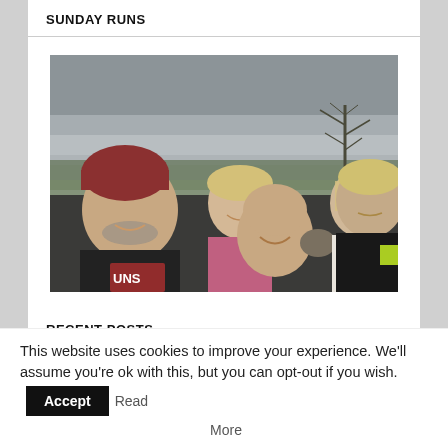SUNDAY RUNS
[Figure (photo): Group photo of five runners outdoors on a hilltop with countryside and cloudy sky in background. Man in red beanie hat on left, blonde woman in pink top, older bald man in front, woman with light hair, younger blond man on right.]
RECENT POSTS
This website uses cookies to improve your experience. We'll assume you're ok with this, but you can opt-out if you wish. Accept Read More